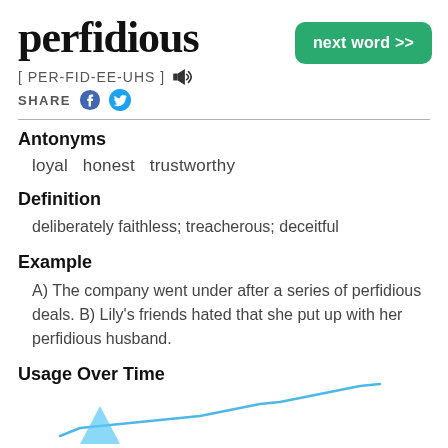perfidious
[ PER-FID-EE-UHS ] 🔊
SHARE
Antonyms
loyal   honest   trustworthy
Definition
deliberately faithless; treacherous; deceitful
Example
A) The company went under after a series of perfidious deals. B) Lily's friends hated that she put up with her perfidious husband.
Usage Over Time
[Figure (continuous-plot): Usage Over Time chart for the word 'perfidious', showing a line chart partially visible at bottom of page with a blue line.]